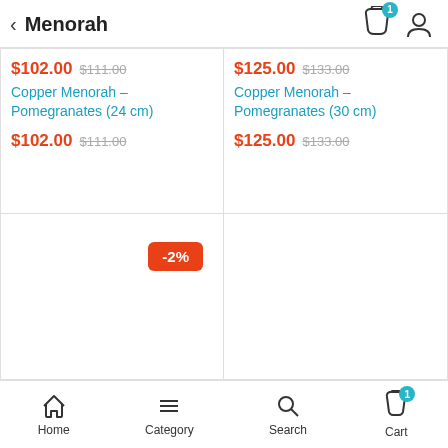< Menorah
$102.00 $111.00
Copper Menorah – Pomegranates (24 cm)
$102.00 $111.00
$125.00 $133.00
Copper Menorah – Pomegranates (30 cm)
$125.00 $133.00
-2%
Home  Category  Search  Cart